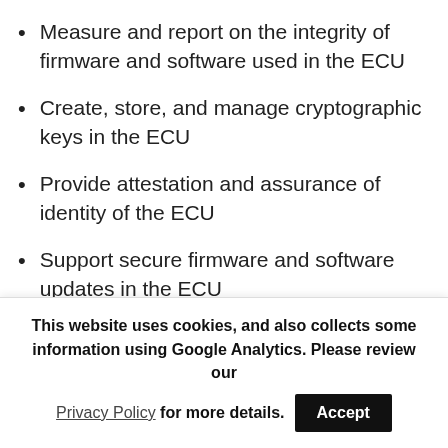Measure and report on the integrity of firmware and software used in the ECU
Create, store, and manage cryptographic keys in the ECU
Provide attestation and assurance of identity of the ECU
Support secure firmware and software updates in the ECU
Provide anti-rollback protection and secure
This website uses cookies, and also collects some information using Google Analytics. Please review our Privacy Policy for more details.